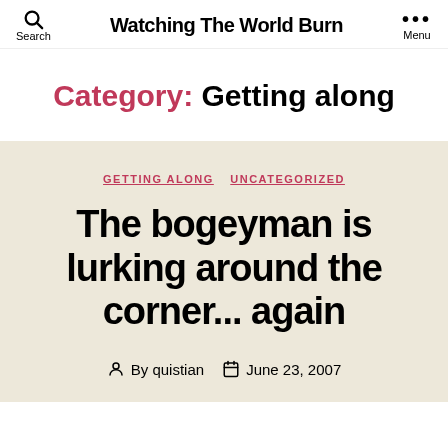Search | Watching The World Burn | Menu
Category: Getting along
GETTING ALONG   UNCATEGORIZED
The bogeyman is lurking around the corner... again
By quistian   June 23, 2007